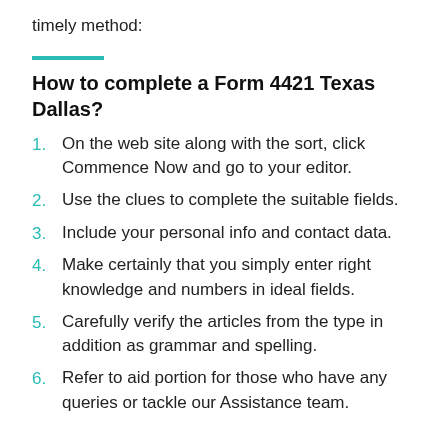timely method:
How to complete a Form 4421 Texas Dallas?
On the web site along with the sort, click Commence Now and go to your editor.
Use the clues to complete the suitable fields.
Include your personal info and contact data.
Make certainly that you simply enter right knowledge and numbers in ideal fields.
Carefully verify the articles from the type in addition as grammar and spelling.
Refer to aid portion for those who have any queries or tackle our Assistance team.